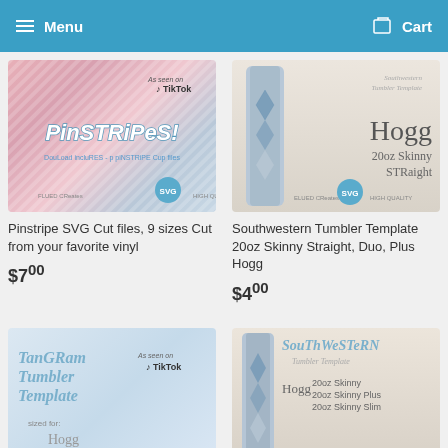Menu   Cart
[Figure (photo): Pinstripe SVG product listing image with pink plaid tumbler and TikTok logo]
Pinstripe SVG Cut files, 9 sizes Cut from your favorite vinyl
$7.00
[Figure (photo): Southwestern Tumbler Template product image with Hogg 20oz Skinny Straight branding]
Southwestern Tumbler Template 20oz Skinny Straight, Duo, Plus Hogg
$4.00
[Figure (photo): Tangram Tumbler Template product image, As seen on TikTok, sized for Hogg]
[Figure (photo): Southwestern Tumbler Template product image second listing with Hogg sizes]